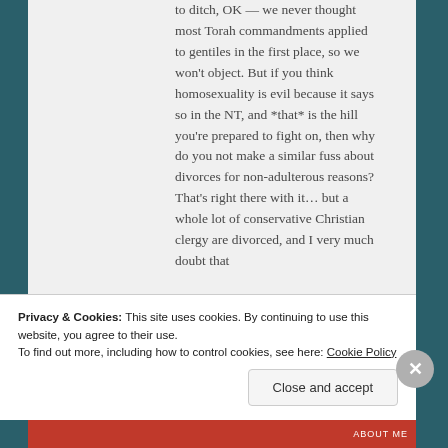to ditch, OK — we never thought most Torah commandments applied to gentiles in the first place, so we won't object. But if you think homosexuality is evil because it says so in the NT, and *that* is the hill you're prepared to fight on, then why do you not make a similar fuss about divorces for non-adulterous reasons? That's right there with it… but a whole lot of conservative Christian clergy are divorced, and I very much doubt that
Privacy & Cookies: This site uses cookies. By continuing to use this website, you agree to their use.
To find out more, including how to control cookies, see here: Cookie Policy